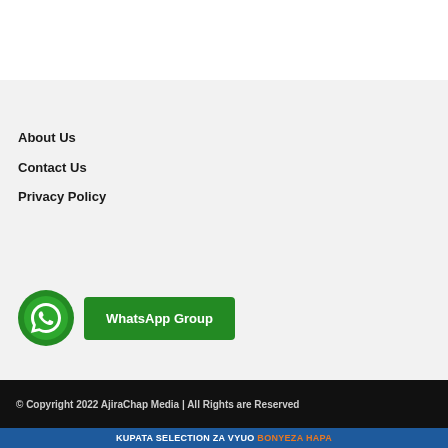About Us
Contact Us
Privacy Policy
[Figure (logo): WhatsApp icon circle green with speech bubble phone logo, followed by a green button labeled WhatsApp Group]
© Copyright 2022 AjiraChap Media | All Rights are Reserved
KUPATA SELECTION ZA VYUO BONYEZA HAPA